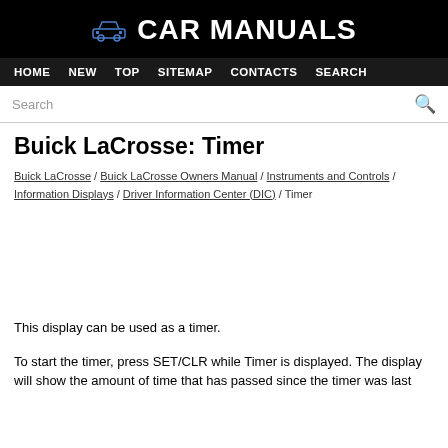Car Manuals
HOME  NEW  TOP  SITEMAP  CONTACTS  SEARCH
Buick LaCrosse: Timer
Buick LaCrosse / Buick LaCrosse Owners Manual / Instruments and Controls / Information Displays / Driver Information Center (DIC) / Timer
This display can be used as a timer.
To start the timer, press SET/CLR while Timer is displayed. The display will show the amount of time that has passed since the timer was last